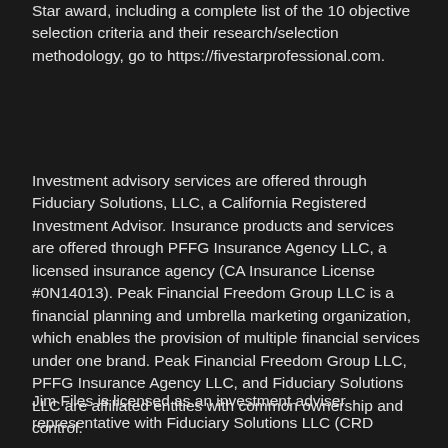Star award, including a complete list of the 10 objective selection criteria and their research/selection methodology, go to https://fivestarprofessional.com.
Investment advisory services are offered through Fiduciary Solutions, LLC, a California Registered Investment Advisor. Insurance products and services are offered through PFFG Insurance Agency LLC, a licensed insurance agency (CA Insurance License #0N14013). Peak Financial Freedom Group LLC is a financial planning and umbrella marketing organization, which enables the provision of multiple financial services under one brand. Peak Financial Freedom Group LLC, PFFG Insurance Agency LLC, and Fiduciary Solutions LLC are affiliated entities with common ownership and control.
Jim Files is licensed as an investment adviser representative with Fiduciary Solutions LLC (CRD